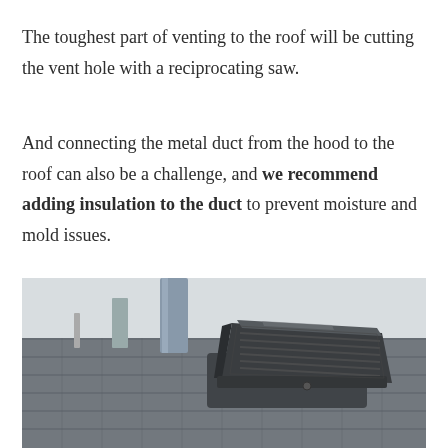The toughest part of venting to the roof will be cutting the vent hole with a reciprocating saw.
And connecting the metal duct from the hood to the roof can also be a challenge, and we recommend adding insulation to the duct to prevent moisture and mold issues.
[Figure (photo): A roof vent cap (dark gray/black, louvered, hexagonal-ish shape) mounted on roof shingles, with a metal duct pipe visible in the background against a light sky. The vent is seen at a low angle on a sloped roof.]